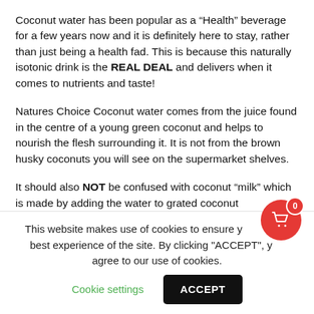Coconut water has been popular as a “Health” beverage for a few years now and it is definitely here to stay, rather than just being a health fad. This is because this naturally isotonic drink is the REAL DEAL and delivers when it comes to nutrients and taste!
Natures Choice Coconut water comes from the juice found in the centre of a young green coconut and helps to nourish the flesh surrounding it. It is not from the brown husky coconuts you will see on the supermarket shelves.
It should also NOT be confused with coconut “milk” which is made by adding the water to grated coconut meat, which is fat and creamy in texture. C...
This website makes use of cookies to ensure you get the best experience of the site. By clicking "ACCEPT", you agree to our use of cookies.
Cookie settings
ACCEPT